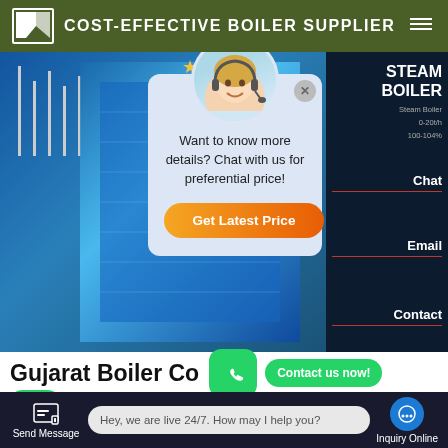COST-EFFECTIVE BOILER SUPPLIER
[Figure (screenshot): Website screenshot showing a boiler supplier page with a Steam Boiler product panel on the right, a building with flags background image, and a chat popup overlay with a customer service avatar, message 'Want to know more details? Chat with us for preferential price!' and a 'Get Latest Price' orange button. Right sidebar shows Chat, Email, Contact labels with red underlines.]
Want to know more details? Chat with us for preferential price!
Get Latest Price
STEAM BOILER
Steam Boiler
Chat
Email
Contact
Gujarat Boiler Co
Contact us now!
Contact us now!
Send Message
Hey, we are live 24/7. How may I help you?
Inquiry Online